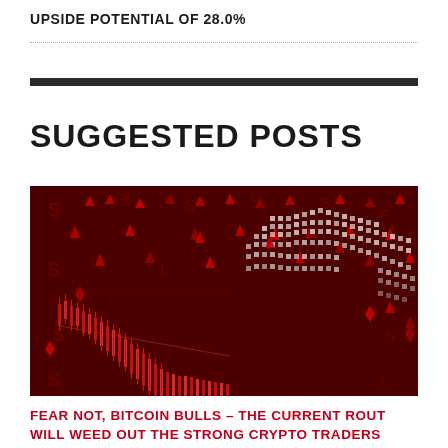UPSIDE POTENTIAL OF 28.0%
[Figure (photo): Red-themed crypto market crash image showing candlestick chart with downward red arrows and a Bitcoin bull silhouette made of dots on a dark red background]
SUGGESTED POSTS
FEAR NOT, BITCOIN BULLS – THE CURRENT ROUT WILL WEED OUT THE STRONG CRYPTO TRADERS FROM THE WEAK ONES, &